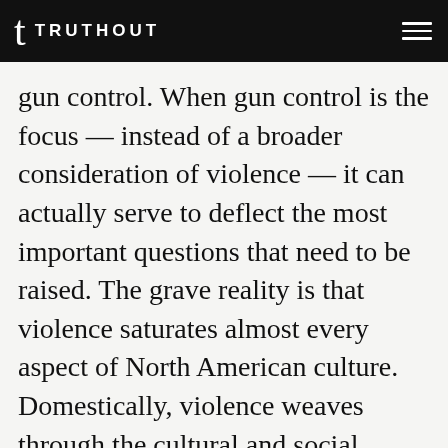TRUTHOUT
gun control. When gun control is the focus — instead of a broader consideration of violence — it can actually serve to deflect the most important questions that need to be raised. The grave reality is that violence saturates almost every aspect of North American culture. Domestically, violence weaves through the cultural and social landscape like a highly charged forest fire burning everything in its path. Popular culture, extending from Hollywood films and sports thuggery, to video